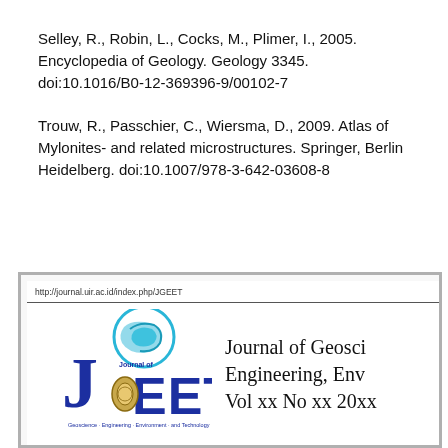Selley, R., Robin, L., Cocks, M., Plimer, I., 2005. Encyclopedia of Geology. Geology 3345. doi:10.1016/B0-12-369396-9/00102-7
Trouw, R., Passchier, C., Wiersma, D., 2009. Atlas of Mylonites- and related microstructures. Springer, Berlin Heidelberg. doi:10.1007/978-3-642-03608-8
[Figure (screenshot): Journal header screenshot showing JGEET journal logo and title 'Journal of Geoscience, Engineering, Environment, and Technology Vol xx No xx 20xx' with URL bar showing http://journal.uir.ac.id/index.php/JGEET]